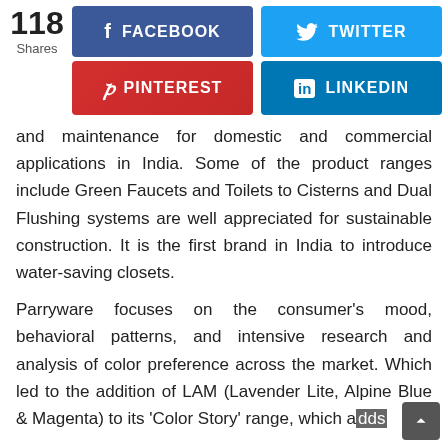[Figure (infographic): Social share bar showing 118 Shares, with buttons for Facebook (blue), Twitter (light blue), Pinterest (red), and LinkedIn (blue)]
and maintenance for domestic and commercial applications in India. Some of the product ranges include Green Faucets and Toilets to Cisterns and Dual Flushing systems are well appreciated for sustainable construction. It is the first brand in India to introduce water-saving closets.
Parryware focuses on the consumer's mood, behavioral patterns, and intensive research and analysis of color preference across the market. Which led to the addition of LAM (Lavender Lite, Alpine Blue & Magenta) to its 'Color Story' range, which adds